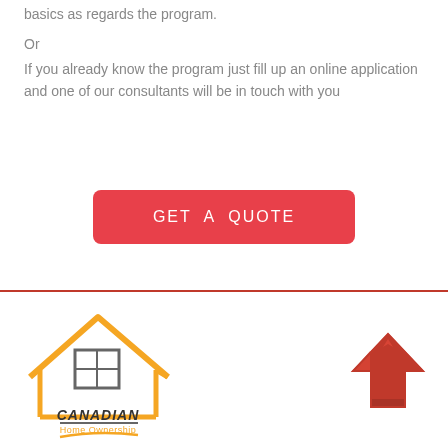basics as regards the program.
Or
If you already know the program just fill up an online application and one of our consultants will be in touch with you
[Figure (other): Red rounded rectangle button with white text 'GET A QUOTE']
[Figure (logo): Canadian Home Ownership logo with orange house outline and text]
[Figure (illustration): Red upward pointing arrow icon]